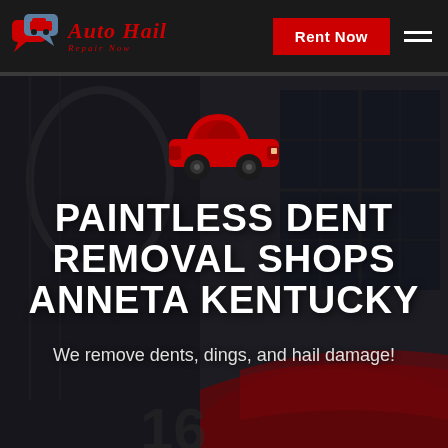Auto Hail Repair Now — Rent Now
[Figure (photo): Dark moody background photo showing a red sports car and architectural facade with wrought iron and large windows]
[Figure (illustration): Red car icon silhouette used as a logo/symbol in the center of the page]
PAINTLESS DENT REMOVAL SHOPS ANNETA KENTUCKY
We remove dents, dings, and hail damage!